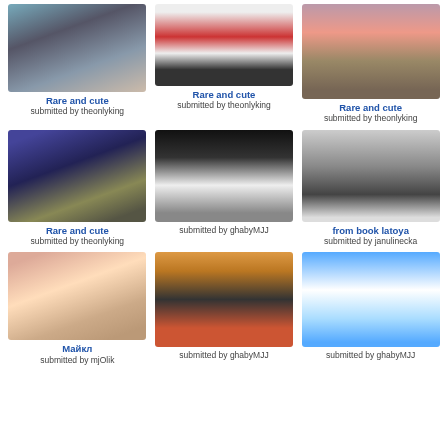[Figure (photo): Person from behind near water with colorful hair accessories]
Rare and cute
submitted by theonlyking
[Figure (photo): Person in red/white striped outfit with JEWSON sign]
Rare and cute
submitted by theonlyking
[Figure (photo): Person in purple/red outfit in dim lighting]
Rare and cute
submitted by theonlyking
[Figure (photo): Person in blue superhero-like outfit outdoors]
Rare and cute
submitted by theonlyking
[Figure (photo): Artistic image with text No estas Solo you are not alone]
submitted by ghabyMJJ
[Figure (photo): Black and white photo of group of people]
from book latoya
submitted by janulinecka
[Figure (photo): Hands holding a golden/cream colored shoe]
Майкл
submitted by mjOlik
[Figure (photo): Artistic collage with Spanish text te amo]
submitted by ghabyMJJ
[Figure (photo): Angel figure in white with wings and blue background]
submitted by ghabyMJJ